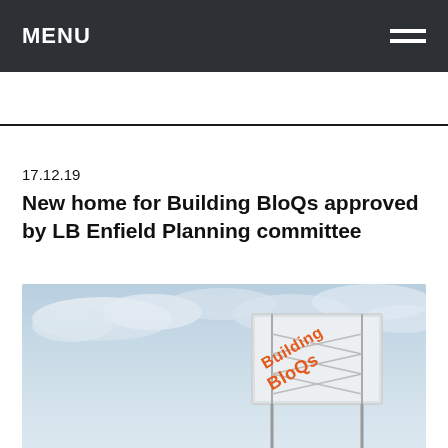MENU
17.12.19
New home for Building BloQs approved by LB Enfield Planning committee
[Figure (photo): Photograph of a Building BloQs sign on a metal lattice structure against a cloudy sky. The sign displays 'Building BloQs' in orange and white lettering.]